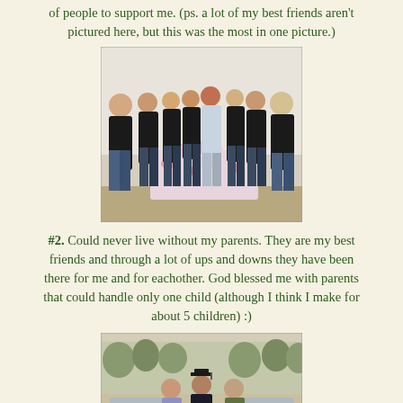of people to support me. (ps. a lot of my best friends aren't pictured here, but this was the most in one picture.)
[Figure (photo): Group photo of eight women in black shirts standing together in front of a table with a floral tablecloth and flowers/cake, against a white curtain backdrop.]
#2. Could never live without my parents. They are my best friends and through a lot of ups and downs they have been there for me and for eachother. God blessed me with parents that could handle only one child (although I think I make for about 5 children) :)
[Figure (photo): Graduation photo of three people — a woman, a graduate in cap and gown, and a man — standing outside in a park-like setting with trees in the background.]